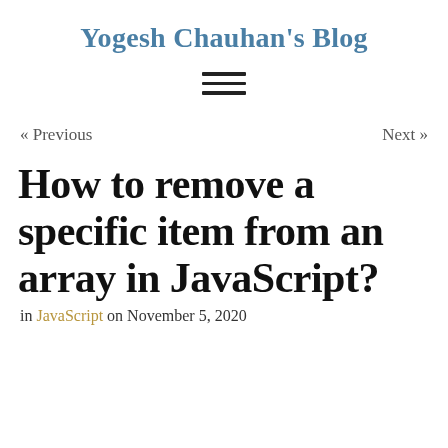Yogesh Chauhan's Blog
How to remove a specific item from an array in JavaScript?
in JavaScript on November 5, 2020